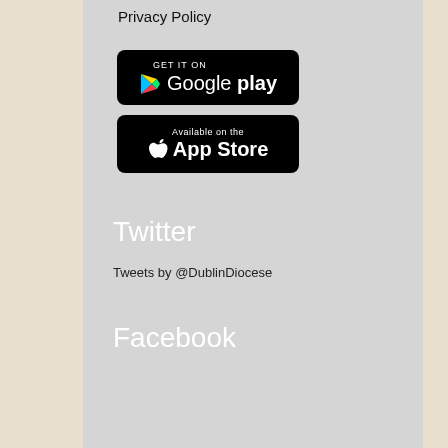Privacy Policy
[Figure (screenshot): Google Play Store download button — black rounded rectangle with GET IT ON text above Google play with triangle logo]
[Figure (screenshot): Apple App Store download button — black rounded rectangle with Available on the above App Store with Apple logo]
Twitter
Tweets by @DublinDiocese
Facebook